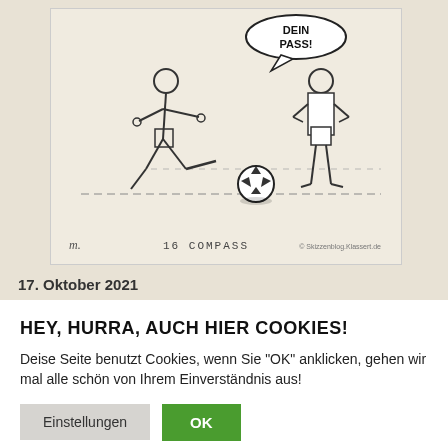[Figure (illustration): A cartoon/comic strip illustration showing a soccer player kicking a ball toward another player who is standing with arms on hips. A speech bubble contains the text 'PASS!' at the top. At the bottom it reads '16 COMPASS' with a copyright mark '© Skizzenblog.Klassert.de'.]
17. Oktober 2021
HEY, HURRA, AUCH HIER COOKIES!
Deise Seite benutzt Cookies, wenn Sie "OK" anklicken, gehen wir mal alle schön von Ihrem Einverständnis aus!
Einstellungen | OK